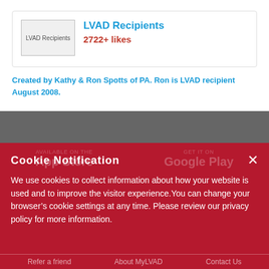[Figure (screenshot): LVAD Recipients Facebook page card with image placeholder, title, likes, and description]
LVAD Recipients
2722+ likes
Created by Kathy & Ron Spotts of PA. Ron is LVAD recipient August 2008.
Do you have the MyLVAD Hospital Locator App?
Cookie Notification
We use cookies to collect information about how your website is used and to improve the visitor experience.You can change your browser's cookie settings at any time. Please review our privacy policy for more information.
Refer a friend   About MyLVAD   Contact Us